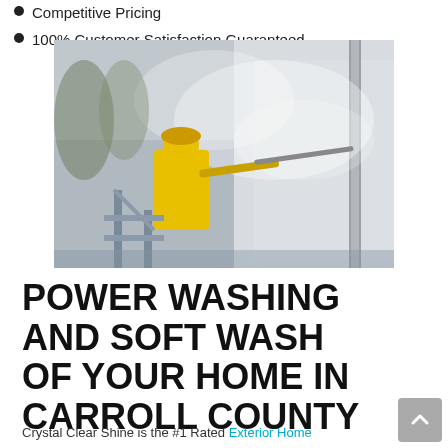Competitive Pricing
100% Customer Satisfaction Guaranteed
[Figure (photo): A worker in a yellow suit standing on scaffolding power washing the exterior wall of a building, steam/mist visible in the air, white stucco wall with a downspout visible.]
POWER WASHING AND SOFT WASH OF YOUR HOME IN CARROLL COUNTY
Crystal Clear Shine is the #1 Rated Exterior Home